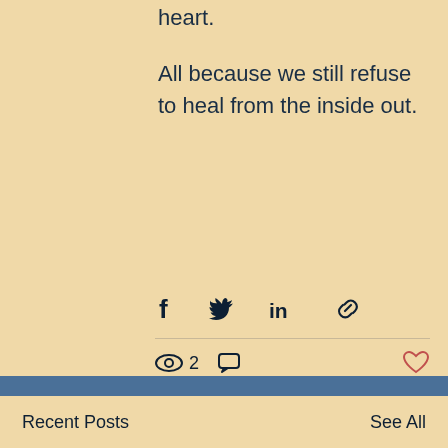heart.
All because we still refuse to heal from the inside out.
[Figure (infographic): Social sharing icons: Facebook, Twitter, LinkedIn, link/chain icon]
2
Recent Posts    See All